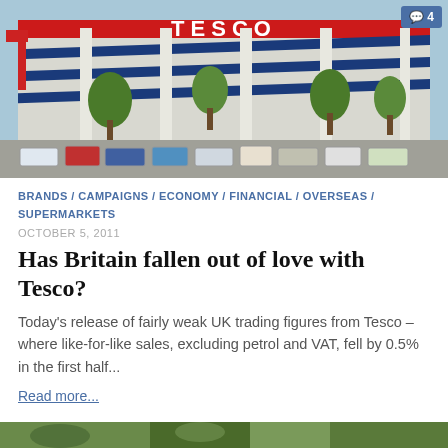[Figure (photo): Exterior photo of a Tesco supermarket building with the Tesco logo visible at the top, a large car park in the foreground with various vehicles, and trees visible in front of the building facade.]
BRANDS / CAMPAIGNS / ECONOMY / FINANCIAL / OVERSEAS / SUPERMARKETS
OCTOBER 5, 2011
Has Britain fallen out of love with Tesco?
Today's release of fairly weak UK trading figures from Tesco – where like-for-like sales, excluding petrol and VAT, fell by 0.5% in the first half...
Read more...